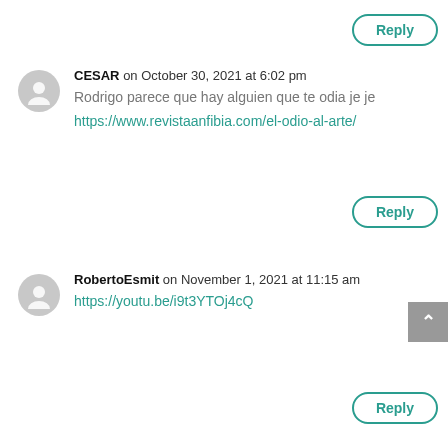Reply
CESAR on October 30, 2021 at 6:02 pm
Rodrigo parece que hay alguien que te odia je je
https://www.revistaanfibia.com/el-odio-al-arte/
Reply
RobertoEsmit on November 1, 2021 at 11:15 am
https://youtu.be/i9t3YTOj4cQ
Reply